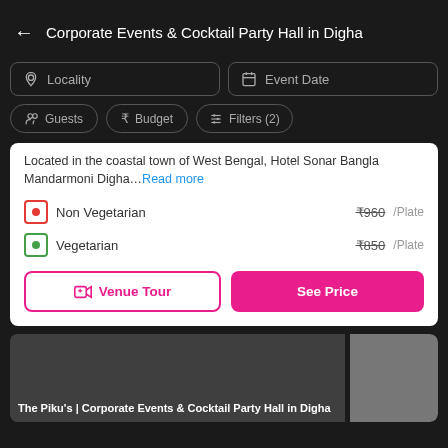Corporate Events & Cocktail Party Hall in Digha
Locality
Event Date
Guests
Budget
Filters (2)
Located in the coastal town of West Bengal, Hotel Sonar Bangla Mandarmoni Digha...Read more
Non Vegetarian  ₹960/Plate
Vegetarian  ₹850/Plate
Venue Tour  |  See Price
The Piku's | Corporate Events & Cocktail Party Hall in Digha